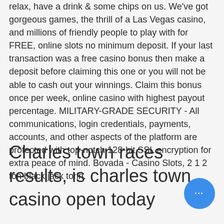relax, have a drink & some chips on us. We've got gorgeous games, the thrill of a Las Vegas casino, and millions of friendly people to play with for FREE, online slots no minimum deposit. If your last transaction was a free casino bonus then make a deposit before claiming this one or you will not be able to cash out your winnings. Claim this bonus once per week, online casino with highest payout percentage. MILITARY-GRADE SECURITY - All communications, login credentials, payments, accounts, and other aspects of the platform are protected with top-notch 128-bit SSL encryption for extra peace of mind. Bovada - Casino Slots, 2 1 2 ton black jack torin.
Charles town races results, is charles town casino open today